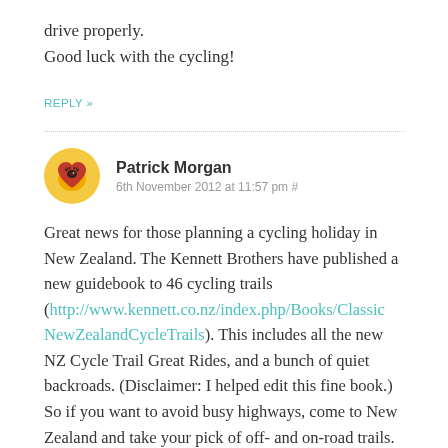drive properly.
Good luck with the cycling!
REPLY »
Patrick Morgan
6th November 2012 at 11:57 pm #
Great news for those planning a cycling holiday in New Zealand. The Kennett Brothers have published a new guidebook to 46 cycling trails (http://www.kennett.co.nz/index.php/Books/ClassicNewZealandCycleTrails). This includes all the new NZ Cycle Trail Great Rides, and a bunch of quiet backroads. (Disclaimer: I helped edit this fine book.) So if you want to avoid busy highways, come to New Zealand and take your pick of off- and on-road trails.
REPLY »